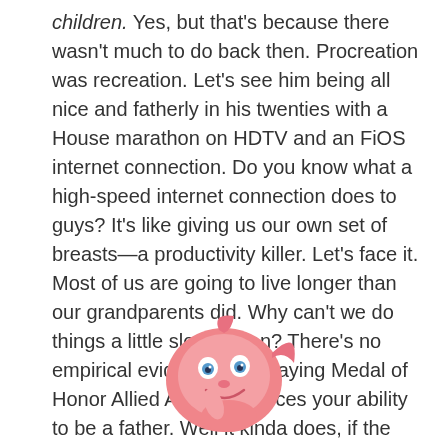children. Yes, but that's because there wasn't much to do back then. Procreation was recreation. Let's see him being all nice and fatherly in his twenties with a House marathon on HDTV and an FiOS internet connection. Do you know what a high-speed internet connection does to guys? It's like giving us our own set of breasts—a productivity killer. Let's face it. Most of us are going to live longer than our grandparents did. Why can't we do things a little slower then? There's no empirical evidence that playing Medal of Honor Allied Assault reduces your ability to be a father. Well it kinda does, if the laptop gets really warm.
[Figure (illustration): A cartoon pink fish character with a smiling face, big blue eyes, and a hand raised to its chin in a thoughtful or coy pose.]